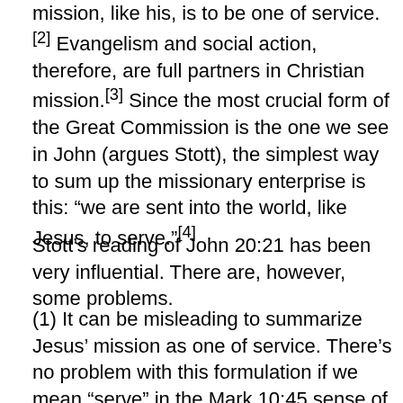mission, like his, is to be one of service.[2] Evangelism and social action, therefore, are full partners in Christian mission.[3] Since the most crucial form of the Great Commission is the one we see in John (argues Stott), the simplest way to sum up the missionary enterprise is this: “we are sent into the world, like Jesus, to serve.”[4]
Stott’s reading of John 20:21 has been very influential. There are, however, some problems.
(1) It can be misleading to summarize Jesus’ mission as one of service. There’s no problem with this formulation if we mean “serve” in the Mark 10:45 sense of the word, that Jesus came not to be served but to serve, and to give his life as a ransom for many. But Stott means more than this. He means that Jesus’ mission was to meet human need,